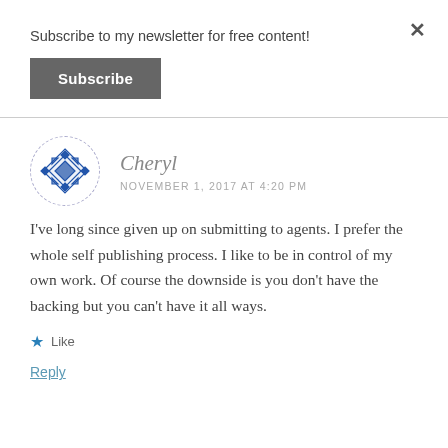Subscribe to my newsletter for free content!
Subscribe
Cheryl
NOVEMBER 1, 2017 AT 4:20 PM
I've long since given up on submitting to agents. I prefer the whole self publishing process. I like to be in control of my own work. Of course the downside is you don't have the backing but you can't have it all ways.
Like
Reply